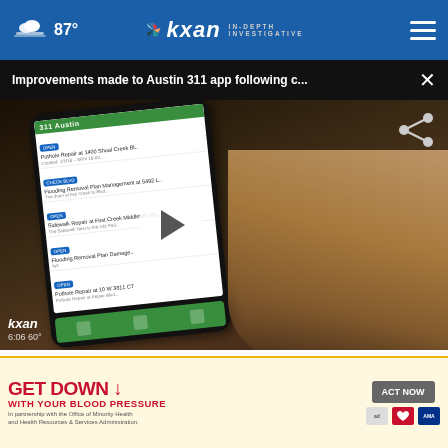87° kxan IN-DEPTH INVESTIGATIVE
Improvements made to Austin 311 app following c...
[Figure (screenshot): Video player showing a hand using a smartphone with the Austin 311 app open, displaying a list of service requests including categories like Flooding, Sidewalk Repair, and Pothole Repair. A play button is overlaid on the video. KXAN logo and 6:06 60° watermark visible in bottom-left.]
amounts in CTX
[Figure (photo): Thumbnail image of weather radar showing colorful precipitation amounts in Central Texas]
Heavy rain continues to cause significant issues
[Figure (infographic): Advertisement banner: GET DOWN WITH YOUR BLOOD PRESSURE - In partnership with the Office of Minority Health and Health Resources & Services Administration. ACT NOW button. Ad Council, American Heart Association, and AMA logos.]